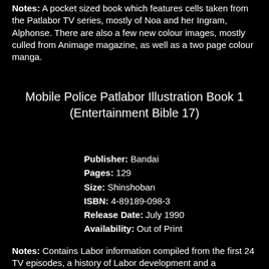Notes: A pocket sized book which features cells taken from the Patlabor TV series, mostly of Noa and her Ingram, Alphonse. There are also a few new colour images, mostly culled from Animage magazine, as well as a two page colour manga.
Mobile Police Patlabor Illustration Book 1 (Entertainment Bible 17)
Publisher: Bandai
Pages: 129
Size: Shinshoban
ISBN: 4-89189-098-3
Release Date: July 1990
Availability: Out of Print
Notes: Contains Labor information compiled from the first 24 TV episodes, a history of Labor development and a